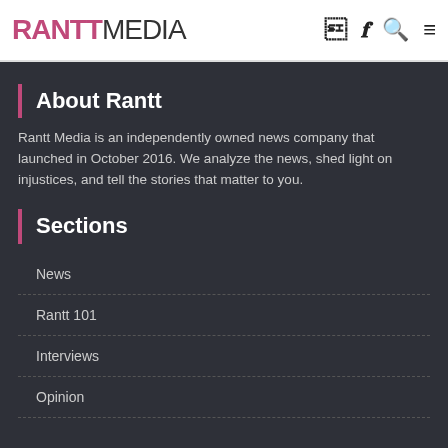RANTT MEDIA
About Rantt
Rantt Media is an independently owned news company that launched in October 2016. We analyze the news, shed light on injustices, and tell the stories that matter to you.
Sections
News
Rantt 101
Interviews
Opinion